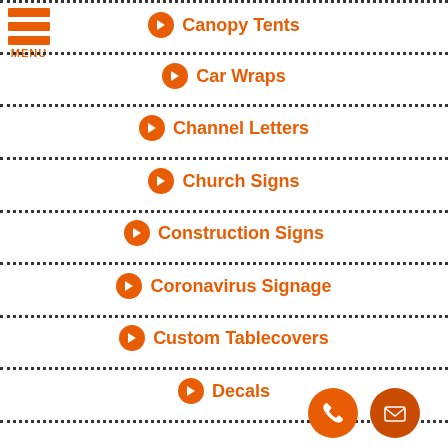MENU
Canopy Tents
Car Wraps
Channel Letters
Church Signs
Construction Signs
Coronavirus Signage
Custom Tablecovers
Decals